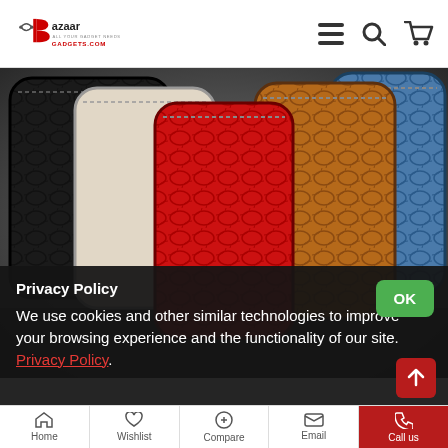[Figure (logo): Bazaar Gadgets logo with red B icon and text 'Bazaar GADGETS.COM']
[Figure (photo): Five tablet/laptop cases in croc-leather texture displayed overlapping: black, white/cream, red, brown/tan, and blue colored cases]
Privacy Policy
We use cookies and other similar technologies to improve your browsing experience and the functionality of our site. Privacy Policy.
Home  Wishlist  Compare  Email  Call us